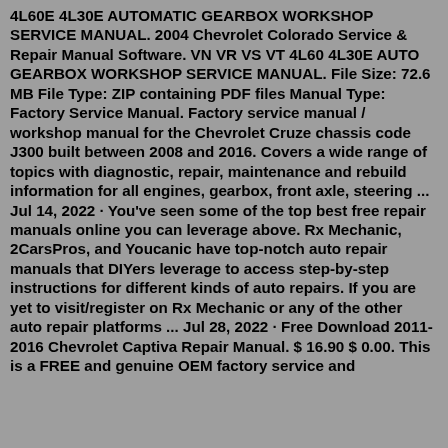4L60E 4L30E AUTOMATIC GEARBOX WORKSHOP SERVICE MANUAL. 2004 Chevrolet Colorado Service & Repair Manual Software. VN VR VS VT 4L60 4L30E AUTO GEARBOX WORKSHOP SERVICE MANUAL. File Size: 72.6 MB File Type: ZIP containing PDF files Manual Type: Factory Service Manual. Factory service manual / workshop manual for the Chevrolet Cruze chassis code J300 built between 2008 and 2016. Covers a wide range of topics with diagnostic, repair, maintenance and rebuild information for all engines, gearbox, front axle, steering ... Jul 14, 2022 · You've seen some of the top best free repair manuals online you can leverage above. Rx Mechanic, 2CarsPros, and Youcanic have top-notch auto repair manuals that DIYers leverage to access step-by-step instructions for different kinds of auto repairs. If you are yet to visit/register on Rx Mechanic or any of the other auto repair platforms ... Jul 28, 2022 · Free Download 2011-2016 Chevrolet Captiva Repair Manual. $ 16.90 $ 0.00. This is a FREE and genuine OEM factory service and